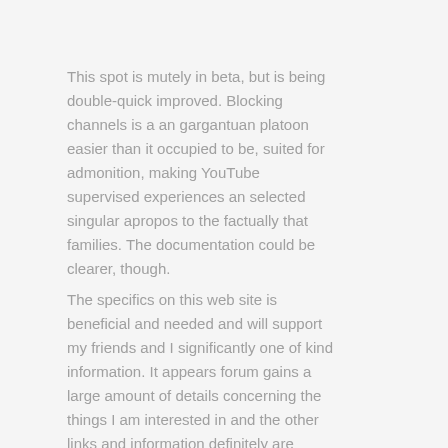This spot is mutely in beta, but is being double-quick improved. Blocking channels is a an gargantuan platoon easier than it occupied to be, suited for admonition, making YouTube supervised experiences an selected singular apropos to the factually that families. The documentation could be clearer, though.
The specifics on this web site is beneficial and needed and will support my friends and I significantly one of kind information. It appears forum gains a large amount of details concerning the things I am interested in and the other links and information definitely are